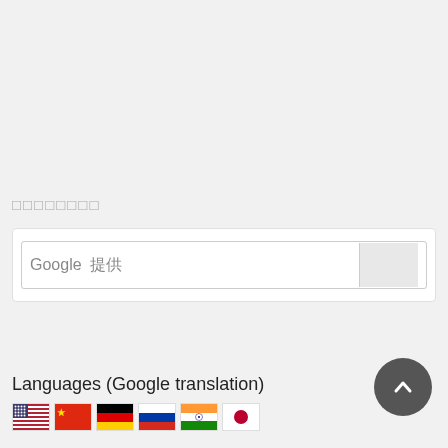□□□□□□□□
[Figure (screenshot): Google search widget with text 'Google 提供' and a search input box]
Languages (Google translation)
[Figure (illustration): Row of country flag icons: USA, China, Germany, Russia, India, Japan]
[Figure (other): Back to top circular button with upward chevron arrow]